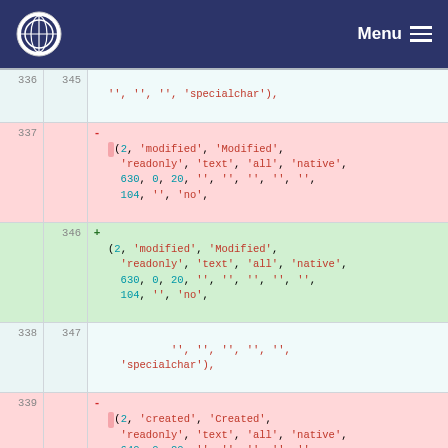Menu navigation bar
335 344 context: '', '', '', 'specialchar'),
337 - (2, 'modified', 'Modified', 'readonly', 'text', 'all', 'native', 630, 0, 20, '', '', '', '', '', 104, '', 'no',
346 + (2, 'modified', 'Modified', 'readonly', 'text', 'all', 'native', 630, 0, 20, '', '', '', '', '', 104, '', 'no',
338 347 context: '', '', '', '', '', '', '', '', 'specialchar'),
339 - (2, 'created', 'Created', 'readonly', 'text', 'all', 'native', 640, 0, 20, '', '', '', '', '', 104, '', 'no', '',
348 + (2, 'created', 'Created',